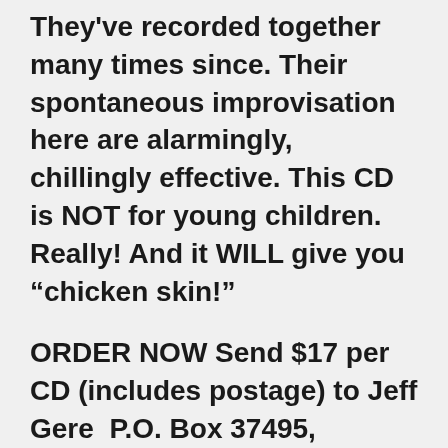They've recorded together many times since. Their spontaneous improvisation here are alarmingly, chillingly effective. This CD is NOT for young children. Really! And it WILL give you "chicken skin!"
ORDER NOW Send $17 per CD (includes postage) to Jeff Gere  P.O. Box 37495, Honolulu, HI 96837, HI